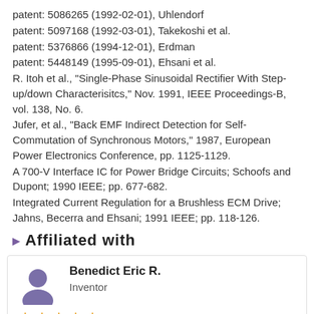patent: 5086265 (1992-02-01), Uhlendorf
patent: 5097168 (1992-03-01), Takekoshi et al.
patent: 5376866 (1994-12-01), Erdman
patent: 5448149 (1995-09-01), Ehsani et al.
R. Itoh et al., "Single-Phase Sinusoidal Rectifier With Step-up/down Characterisitcs," Nov. 1991, IEEE Proceedings-B, vol. 138, No. 6.
Jufer, et al., "Back EMF Indirect Detection for Self-Commutation of Synchronous Motors," 1987, European Power Electronics Conference, pp. 1125-1129.
A 700-V Interface IC for Power Bridge Circuits; Schoofs and Dupont; 1990 IEEE; pp. 677-682.
Integrated Current Regulation for a Brushless ECM Drive; Jahns, Becerra and Ehsani; 1991 IEEE; pp. 118-126.
Affiliated with
Benedict Eric R. — Inventor — [0.00] – not rated yet — Voters 0 Comments 0